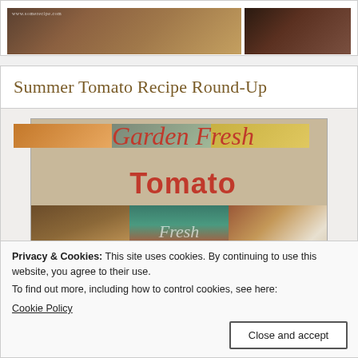[Figure (photo): Top section with two food photos side by side, partially visible at top of page]
Summer Tomato Recipe Round-Up
[Figure (photo): Garden Fresh Tomato recipe collage image with script text 'Garden Fresh Tomato' at top and a grid of food photos below, center panel shows a 'Fresh Market' sign with tomatoes]
Privacy & Cookies: This site uses cookies. By continuing to use this website, you agree to their use.
To find out more, including how to control cookies, see here:
Cookie Policy
Close and accept